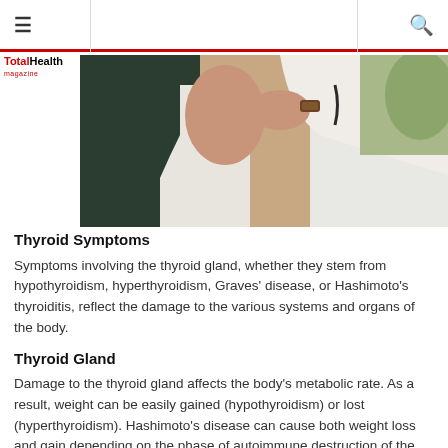≡  [TotalHealth Magazine logo]  🔍
[Figure (photo): A doctor in a white coat examining or touching the neck/shoulder area of a patient wearing a dark cardigan and white shirt, likely checking the thyroid gland. The setting appears to be a medical office.]
Thyroid Symptoms
Symptoms involving the thyroid gland, whether they stem from hypothyroidism, hyperthyroidism, Graves' disease, or Hashimoto's thyroiditis, reflect the damage to the various systems and organs of the body.
Thyroid Gland
Damage to the thyroid gland affects the body's metabolic rate. As a result, weight can be easily gained (hypothyroidism) or lost (hyperthyroidism). Hashimoto's disease can cause both weight loss and gain depending on the phase of autoimmune destruction of the thyroid gland.